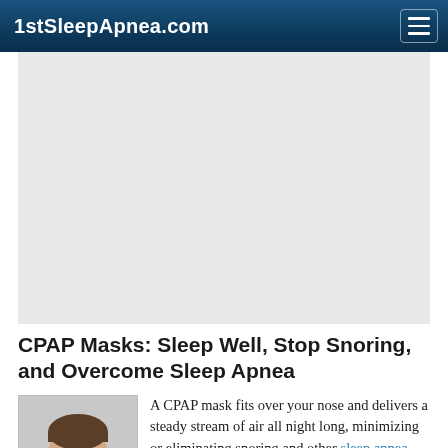1stSleepApnea.com
[Figure (photo): Advertisement or banner image placeholder — large light gray rectangle below the navigation header]
CPAP Masks: Sleep Well, Stop Snoring, and Overcome Sleep Apnea
[Figure (photo): Photo of a smiling man, used as article thumbnail]
A CPAP mask fits over your nose and delivers a steady stream of air all night long, minimizing or eliminating snoring and other sleep apnea symptoms. With a steady supply